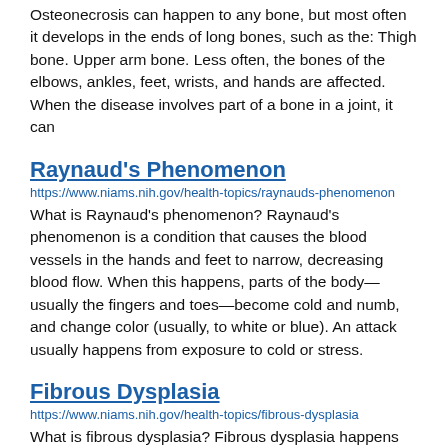Osteonecrosis can happen to any bone, but most often it develops in the ends of long bones, such as the: Thigh bone. Upper arm bone. Less often, the bones of the elbows, ankles, feet, wrists, and hands are affected. When the disease involves part of a bone in a joint, it can
Raynaud's Phenomenon
https://www.niams.nih.gov/health-topics/raynauds-phenomenon
What is Raynaud's phenomenon? Raynaud's phenomenon is a condition that causes the blood vessels in the hands and feet to narrow, decreasing blood flow. When this happens, parts of the body—usually the fingers and toes—become cold and numb, and change color (usually, to white or blue). An attack usually happens from exposure to cold or stress.
Fibrous Dysplasia
https://www.niams.nih.gov/health-topics/fibrous-dysplasia
What is fibrous dysplasia? Fibrous dysplasia happens when abnormal fibrous (scar-like) tissue replaces healthy bone. The fibrous tissue weakens the bone over time, which can lead to: Broken bones. Bones that are misshapen (bowed or crooked). The disease can affect any bone in the body. Some people have no symptoms or only a few symptoms. Other people may have more